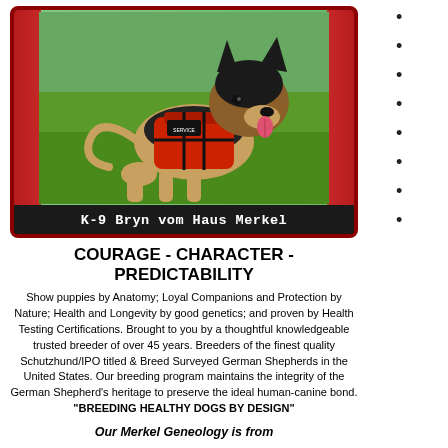[Figure (photo): Photo of a German Shepherd dog wearing a red service/protection vest, sitting on green grass. The photo is framed with an American flag border, inside a dark red bordered card.]
K-9 Bryn vom Haus Merkel
COURAGE - CHARACTER - PREDICTABILITY
Show puppies by Anatomy; Loyal Companions and Protection by Nature; Health and Longevity by good genetics; and proven by Health Testing Certifications. Brought to you by a thoughtful knowledgeable trusted breeder of over 45 years. Breeders of the finest quality Schutzhund/IPO titled & Breed Surveyed German Shepherds in the United States. Our breeding program maintains the integrity of the German Shepherd's heritage to preserve the ideal human-canine bond. "BREEDING HEALTHY DOGS BY DESIGN"
Our Merkel Geneology is from